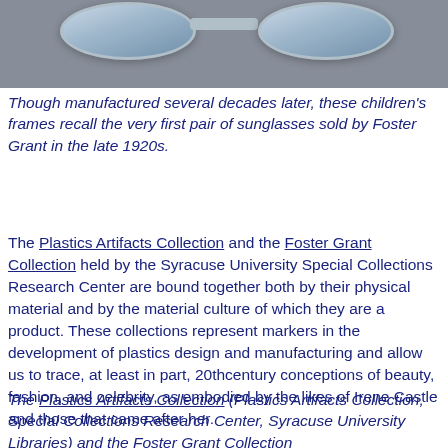[Figure (photo): Photograph of a pair of children's sunglasses frames viewed from above against a gray background, showing two oval lenses connected by a bridge.]
Though manufactured several decades later, these children's frames recall the very first pair of sunglasses sold by Foster Grant in the late 1920s.
The Plastics Artifacts Collection and the Foster Grant Collection held by the Syracuse University Special Collections Research Center are bound together both by their physical material and by the material culture of which they are a product. These collections represent markers in the development of plastics design and manufacturing and allow us to trace, at least in part, 20thcentury conceptions of beauty, fashion, and celebrity, as embodied by the likes of Irene Castle and those that came after her.
The Plastics Artifacts Collection (Plastics Artifacts Collection, Special Collections Research Center, Syracuse University Libraries) and the Foster Grant Collection